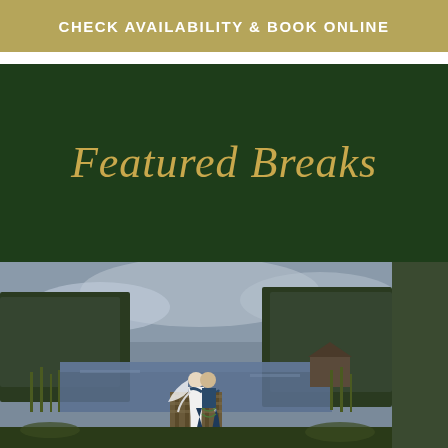CHECK AVAILABILITY & BOOK ONLINE
Featured Breaks
[Figure (photo): Wedding couple kissing on a wooden dock by a lake surrounded by trees, groom in blue tartan kilt, bride in white gown with veil]
<
>